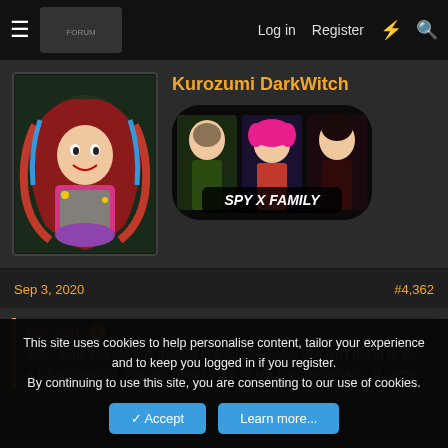Log in  Register
Kurozumi DarkWitch
[Figure (illustration): Anime character avatar - colorful One Piece character with red hair]
[Figure (illustration): SPY X FAMILY banner with three anime characters]
Sep 3, 2020
#4,362
Esc said: ➕
Imo I think Big Mom is treated like this because she isn't going to be a full antagonist. She will revert back to her Olin personality at some
This site uses cookies to help personalise content, tailor your experience and to keep you logged in if you register.
By continuing to use this site, you are consenting to our use of cookies.
Accept   Learn more...